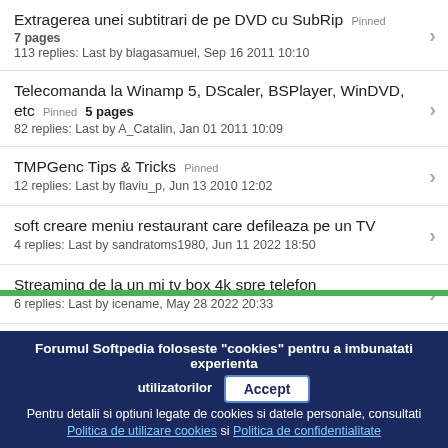Extragerea unei subtitrari de pe DVD cu SubRip Pinned 7 pages
113 replies: Last by blagasamuel, Sep 16 2011 10:10
Telecomanda la Winamp 5, DScaler, BSPlayer, WinDVD, etc Pinned 5 pages
82 replies: Last by A_Catalin, Jan 01 2011 10:09
TMPGenc Tips & Tricks Pinned
12 replies: Last by flaviu_p, Jun 13 2010 12:02
soft creare meniu restaurant care defileaza pe un TV
4 replies: Last by sandratoms1980, Jun 11 2022 18:50
Streaming de la un mi tv box 4k spre telefon
6 replies: Last by icename, May 28 2022 20:33
O alta problema SW 6.02b
Forumul Softpedia foloseste "cookies" pentru a imbunatati experienta utilizatorilor
Pentru detalii si optiuni legate de cookies si datele personale, consultati Politica de utilizare cookies si Politica de confidentialitate